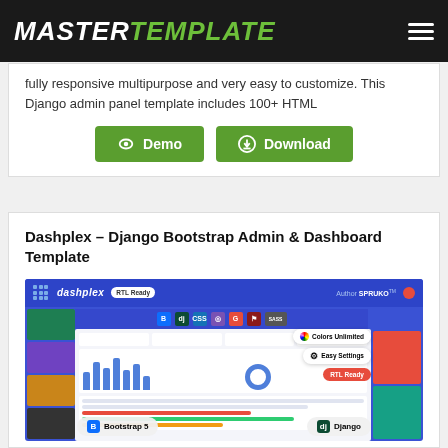MASTERTEMPLATE
fully responsive multipurpose and very easy to customize. This Django admin panel template includes 100+ HTML
Demo  Download
Dashplex – Django Bootstrap Admin & Dashboard Template
[Figure (screenshot): Screenshot of Dashplex Django Bootstrap Admin & Dashboard Template promotional banner showing colorful admin panels, Bootstrap 5 and Django badges, RTL Ready tag, Colors Unlimited, Easy Settings, and RTL Ready feature badges]